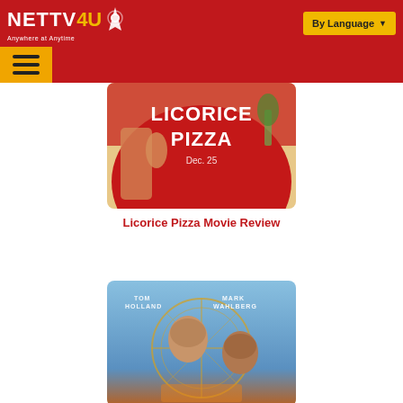NETTV4U — Anywhere at Anytime | By Language
[Figure (photo): Licorice Pizza movie poster thumbnail showing stylized artwork with the title 'LICORICE PIZZA' in large letters on a red background with a figure]
Licorice Pizza Movie Review
[Figure (photo): Uncharted movie poster thumbnail showing Tom Holland and Mark Wahlberg with a circular compass/crosshair overlay against a blue sky background]